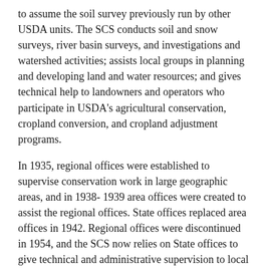to assume the soil survey previously run by other USDA units. The SCS conducts soil and snow surveys, river basin surveys, and investigations and watershed activities; assists local groups in planning and developing land and water resources; and gives technical help to landowners and operators who participate in USDA's agricultural conservation, cropland conversion, and cropland adjustment programs.
In 1935, regional offices were established to supervise conservation work in large geographic areas, and in 1938-1939 area offices were created to assist the regional offices. State offices replaced area offices in 1942. Regional offices were discontinued in 1954, and the SCS now relies on State offices to give technical and administrative supervision to local units.
Records Description
Dates: 1950-1972
Volume: 21 cubic feet
Records of the New York State office. The records relate to